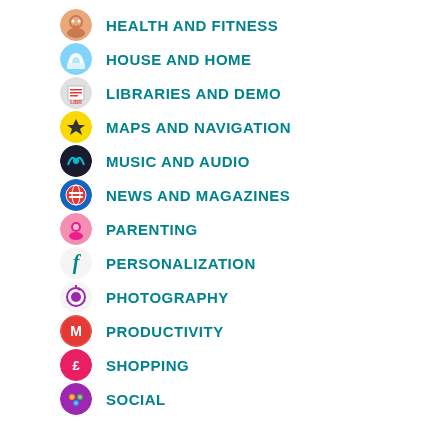HEALTH AND FITNESS
HOUSE AND HOME
LIBRARIES AND DEMO
MAPS AND NAVIGATION
MUSIC AND AUDIO
NEWS AND MAGAZINES
PARENTING
PERSONALIZATION
PHOTOGRAPHY
PRODUCTIVITY
SHOPPING
SOCIAL